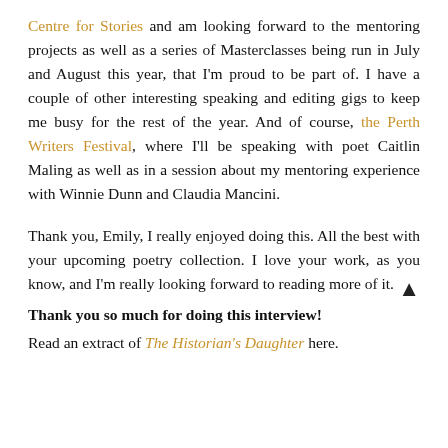Centre for Stories and am looking forward to the mentoring projects as well as a series of Masterclasses being run in July and August this year, that I'm proud to be part of. I have a couple of other interesting speaking and editing gigs to keep me busy for the rest of the year. And of course, the Perth Writers Festival, where I'll be speaking with poet Caitlin Maling as well as in a session about my mentoring experience with Winnie Dunn and Claudia Mancini.
Thank you, Emily, I really enjoyed doing this. All the best with your upcoming poetry collection. I love your work, as you know, and I'm really looking forward to reading more of it.
Thank you so much for doing this interview!
Read an extract of The Historian's Daughter here.